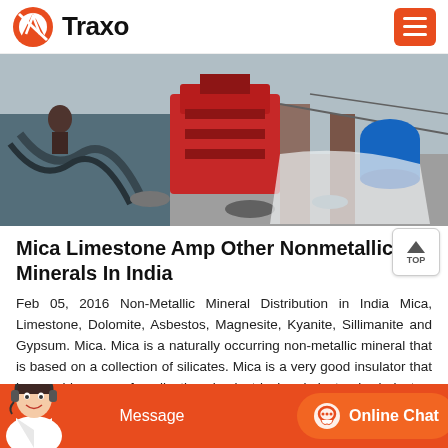Traxo
[Figure (photo): Industrial mining or construction equipment scene with red machinery, workers, and outdoor setting]
Mica Limestone Amp Other Nonmetallic Minerals In India
Feb 05, 2016 Non-Metallic Mineral Distribution in India Mica, Limestone, Dolomite, Asbestos, Magnesite, Kyanite, Sillimanite and Gypsum. Mica. Mica is a naturally occurring non-metallic mineral that is based on a collection of silicates. Mica is a very good insulator that has a wide range of applications in electrical and electronics industry.
Message  Online Chat